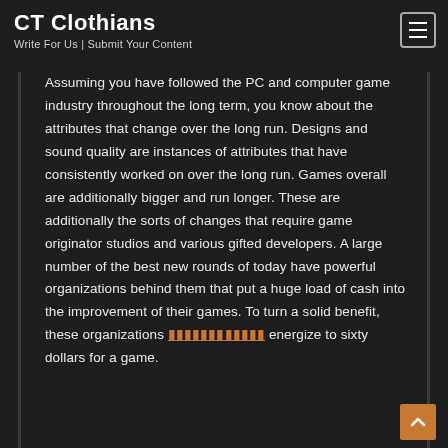CT Clothians
Write For Us | Submit Your Content
Assuming you have followed the PC and computer game industry throughout the long term, you know about the attributes that change over the long run. Designs and sound quality are instances of attributes that have consistently worked on over the long run. Games overall are additionally bigger and run longer. These are additionally the sorts of changes that require game originator studios and various gifted developers. A large number of the best new rounds of today have powerful organizations behind them that put a huge load of cash into the improvement of their games. To turn a solid benefit, these organizations [link text] energize to sixty dollars for a game.